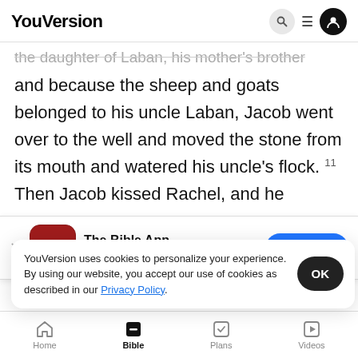YouVersion
the daughter of Laban, his mother's brother, and because the sheep and goats belonged to his uncle Laban, Jacob went over to the well and moved the stone from its mouth and watered his uncle's flock. 11 Then Jacob kissed Rachel, and he
[Figure (screenshot): App download banner for The Bible App with HOLY BIBLE icon, 5 star rating, 7.9M reviews, and Download button]
aunt Re... father, ...
YouVersion uses cookies to personalize your experience. By using our website, you accept our use of cookies as described in our Privacy Policy.
Home  Bible  Plans  Videos